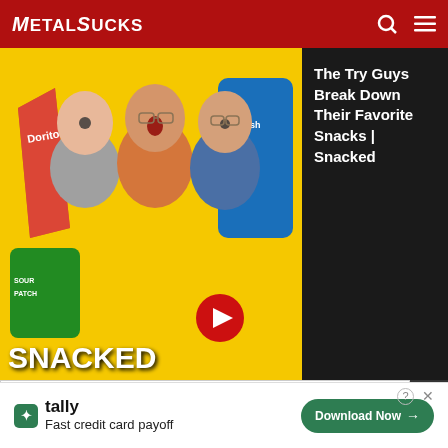MetalSucks
[Figure (screenshot): YouTube video ad overlay showing The Try Guys Break Down Their Favorite Snacks | Snacked, with three men posing with Doritos, Sour Patch Kids, and Swedish Fish snacks on yellow background. SNACKED text at bottom left, red play button arrow, dark sidebar with video title.]
The Try Guys Break Down Their Favorite Snacks | Snacked
[Figure (screenshot): Learn more button in dark gray on white background]
Well I guess you could say a new old drummer. Mike Rosswog's been a friend, and he played on Kiss the Pig and right after he cut that album and did some live shows
[Figure (screenshot): Tally Fast credit card payoff advertisement banner at bottom with Download Now button]